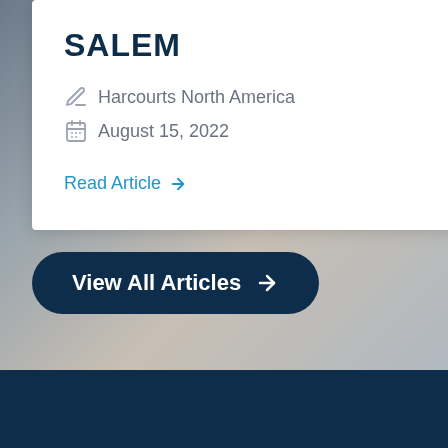SALEM
Harcourts North America
August 15, 2022
Read Article →
View All Articles →